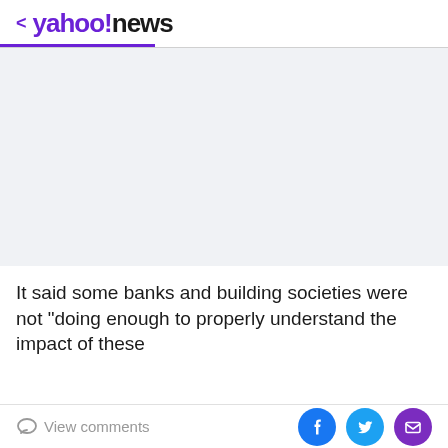< yahoo!news
[Figure (other): Advertisement placeholder area with light blue-grey background]
It said some banks and building societies were not "doing enough to properly understand the impact of these
View comments | Share on Facebook | Share on Twitter | Share via Email